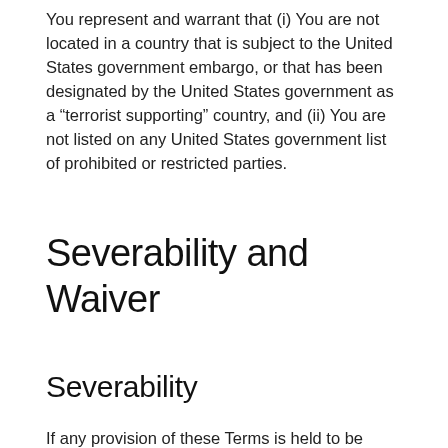You represent and warrant that (i) You are not located in a country that is subject to the United States government embargo, or that has been designated by the United States government as a “terrorist supporting” country, and (ii) You are not listed on any United States government list of prohibited or restricted parties.
Severability and Waiver
Severability
If any provision of these Terms is held to be unenforceable or invalid, such provision will be changed and interpreted to accomplish the objectives of such provision to the greatest extent possible under applicable law and the remaining provisions will continue in full force and effect.